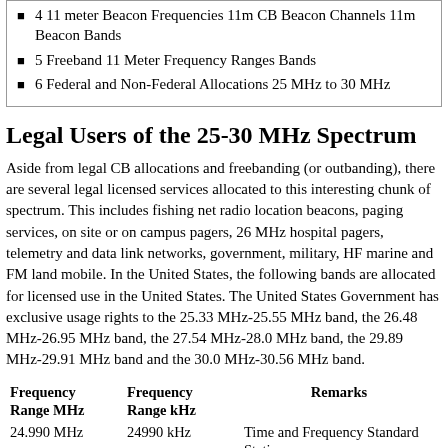4 11 meter Beacon Frequencies 11m CB Beacon Channels 11m Beacon Bands
5 Freeband 11 Meter Frequency Ranges Bands
6 Federal and Non-Federal Allocations 25 MHz to 30 MHz
Legal Users of the 25-30 MHz Spectrum
Aside from legal CB allocations and freebanding (or outbanding), there are several legal licensed services allocated to this interesting chunk of spectrum. This includes fishing net radio location beacons, paging services, on site or on campus pagers, 26 MHz hospital pagers, telemetry and data link networks, government, military, HF marine and FM land mobile. In the United States, the following bands are allocated for licensed use in the United States. The United States Government has exclusive usage rights to the 25.33 MHz-25.55 MHz band, the 26.48 MHz-26.95 MHz band, the 27.54 MHz-28.0 MHz band, the 29.89 MHz-29.91 MHz band and the 30.0 MHz-30.56 MHz band.
| Frequency Range MHz | Frequency Range kHz | Remarks |
| --- | --- | --- |
| 24.990 MHz | 24990 kHz | Time and Frequency Standard Stations - |
| 25.010 | 25010 |  |